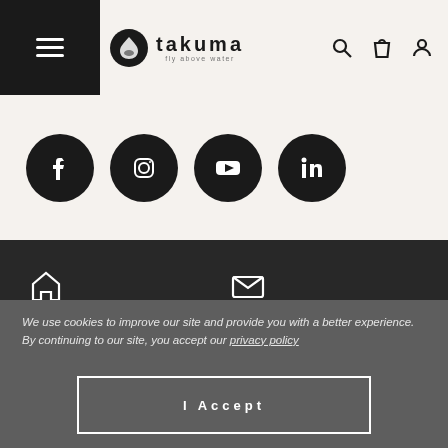Takuma – fly above water
[Figure (logo): Takuma logo with circular icon and 'fly above water' tagline]
[Figure (infographic): Social media icons row: Facebook, Instagram, YouTube, LinkedIn – black circles with white icons]
Takuma HQ
Nest City Lab
Carrer d'Àlaba, 100
08018 Barcelona
Contact us
We use cookies to improve our site and provide you with a better experience. By continuing to our site, you accept our privacy policy
I Accept